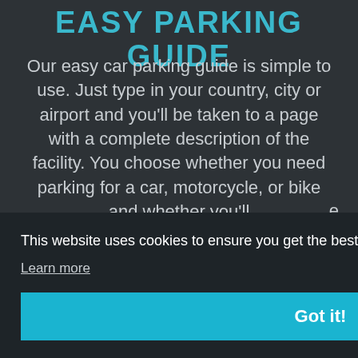EASY PARKING GUIDE
Our easy car parking guide is simple to use. Just type in your country, city or airport and you'll be taken to a page with a complete description of the facility. You choose whether you need parking for a car, motorcycle, or bike and whether you'll...
This website uses cookies to ensure you get the best experience on our website. Learn more
Got it!
parking.